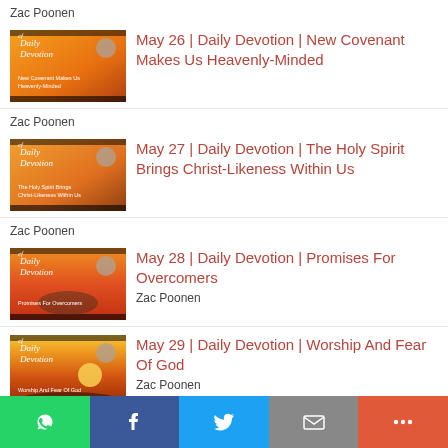Zac Poonen
[Figure (screenshot): Thumbnail for May 26 Daily Devotion - New Covenant Makes Us Heavenly-Minded, warm sunset background with text overlay]
May 26 | Daily Devotion | New Covenant Makes Us Heavenly-Minded
Zac Poonen
[Figure (screenshot): Thumbnail for May 27 Daily Devotion - The Holy Spirit Brings Christ-Likeness Within Us, warm sunset background with text overlay]
May 27 | Daily Devotion | The Holy Spirit Brings Christ-Likeness Within Us
Zac Poonen
[Figure (screenshot): Thumbnail for May 28 Daily Devotion - Promises For Overcomers, dramatic sunset with rocks]
May 28 | Daily Devotion | Promises For Overcomers
Zac Poonen
[Figure (screenshot): Thumbnail for May 29 Daily Devotion - Worship And Fear Of God, sunset landscape]
May 29 | Daily Devotion | Worship And Fear Of God
Zac Poonen